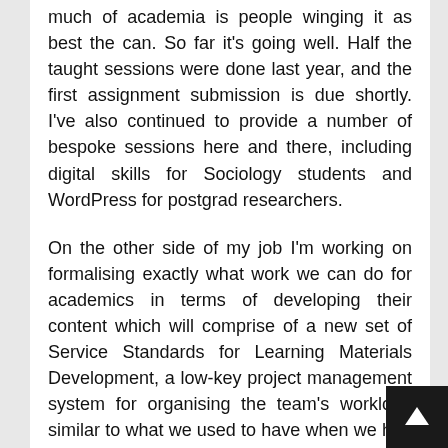much of academia is people winging it as best the can. So far it's going well. Half the taught sessions were done last year, and the first assignment submission is due shortly. I've also continued to provide a number of bespoke sessions here and there, including digital skills for Sociology students and WordPress for postgrad researchers.
On the other side of my job I'm working on formalising exactly what work we can do for academics in terms of developing their content which will comprise of a new set of Service Standards for Learning Materials Development, a low-key project management system for organising the team's workload similar to what we used to have when we had access to Jira, and a dashboard for reporting what we've done. That's something we definitely need more of, we do a lot of good work that doesn't get shouted abo